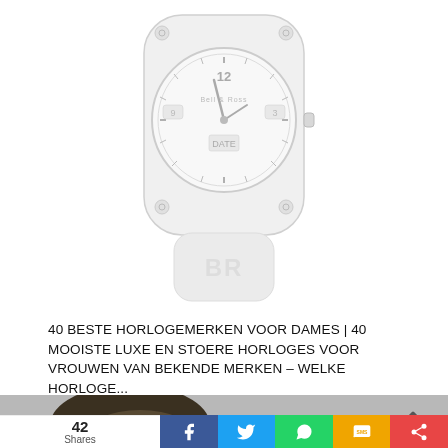[Figure (photo): A white Bell & Ross square watch with white rubber strap showing 'BR' embossed, on a white background]
40 BESTE HORLOGEMERKEN VOOR DAMES | 40 MOOISTE LUXE EN STOERE HORLOGES VOOR VROUWEN VAN BEKENDE MERKEN – WELKE HORLOGE...
[Figure (photo): Partial photo of a person with dark hair at the bottom of the page]
42 Shares
Social share buttons: Facebook, Twitter, WhatsApp, SMS, Share